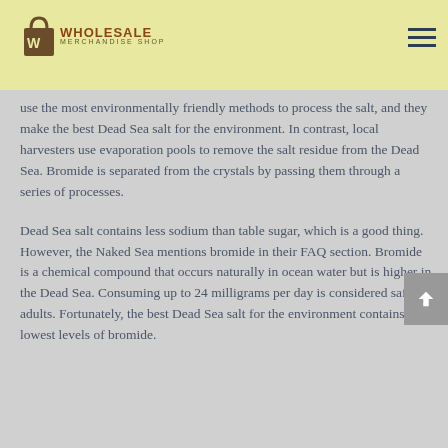[Figure (logo): Wholesale Merchandise Shop logo with shopping bag icon and text]
use the most environmentally friendly methods to process the salt, and they make the best Dead Sea salt for the environment. In contrast, local harvesters use evaporation pools to remove the salt residue from the Dead Sea. Bromide is separated from the crystals by passing them through a series of processes.
Dead Sea salt contains less sodium than table sugar, which is a good thing. However, the Naked Sea mentions bromide in their FAQ section. Bromide is a chemical compound that occurs naturally in ocean water but is higher in the Dead Sea. Consuming up to 24 milligrams per day is considered safe for adults. Fortunately, the best Dead Sea salt for the environment contains the lowest levels of bromide.